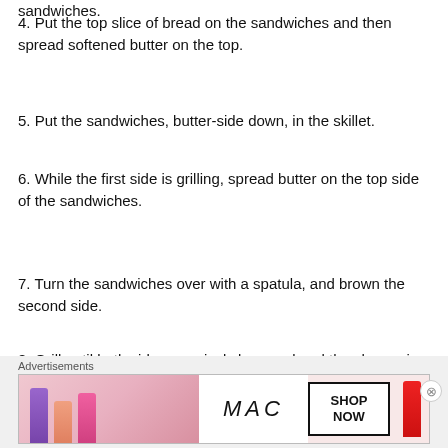sandwiches.
4. Put the top slice of bread on the sandwiches and then spread softened butter on the top.
5. Put the sandwiches, butter-side down, in the skillet.
6. While the first side is grilling, spread butter on the top side of the sandwiches.
7. Turn the sandwiches over with a spatula, and brown the second side.
8. Grill until both sides are nicely browned and the cheese is melted.
Advertisements
[Figure (illustration): MAC cosmetics advertisement banner showing lipsticks and SHOP NOW button]